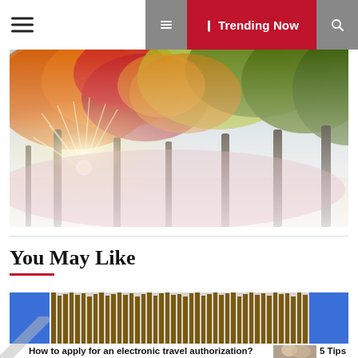☰   ❙ Trending Now   🔍
[Figure (photo): Autumn trees with orange, red and yellow foliage along a path, sunlight bursting through the trees, misty background]
You May Like
[Figure (photo): Decorative image strip showing organ pipes or vertical architectural columns, with blue blocks on left and right ends]
How to apply for an electronic travel authorization?
5 Tips For Av Fees